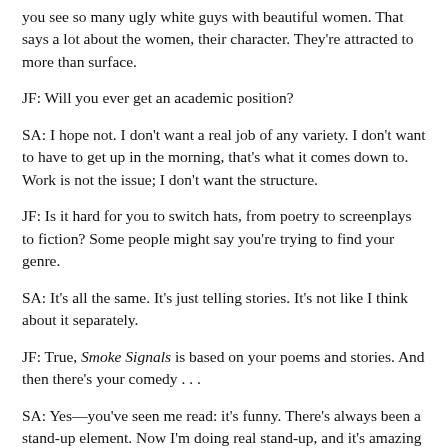you see so many ugly white guys with beautiful women. That says a lot about the women, their character. They're attracted to more than surface.
JF: Will you ever get an academic position?
SA: I hope not. I don't want a real job of any variety. I don't want to have to get up in the morning, that's what it comes down to. Work is not the issue; I don't want the structure.
JF: Is it hard for you to switch hats, from poetry to screenplays to fiction? Some people might say you're trying to find your genre.
SA: It's all the same. It's just telling stories. It's not like I think about it separately.
JF: True, Smoke Signals is based on your poems and stories. And then there's your comedy . . .
SA: Yes—you've seen me read: it's funny. There's always been a stand-up element. Now I'm doing real stand-up, and it's amazing the freedom I got when I called it stand-up. I talked about things I would never talk about in a literary world. I can do anything I want, and I get the same amount of laughter when I do stand-up. What I hope to do is bring literary humor to my comedy fans